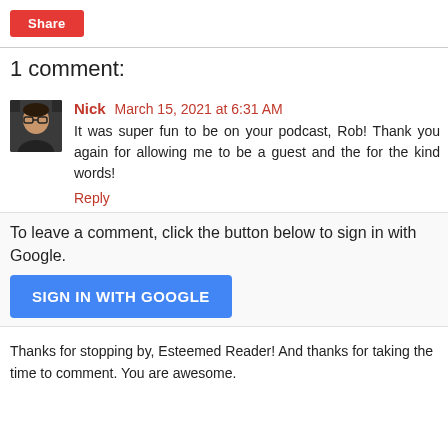Share
1 comment:
[Figure (photo): Avatar photo of commenter Nick, showing a man wearing glasses against a dark background.]
Nick March 15, 2021 at 6:31 AM
It was super fun to be on your podcast, Rob! Thank you again for allowing me to be a guest and the for the kind words!
Reply
To leave a comment, click the button below to sign in with Google.
SIGN IN WITH GOOGLE
Thanks for stopping by, Esteemed Reader! And thanks for taking the time to comment. You are awesome.